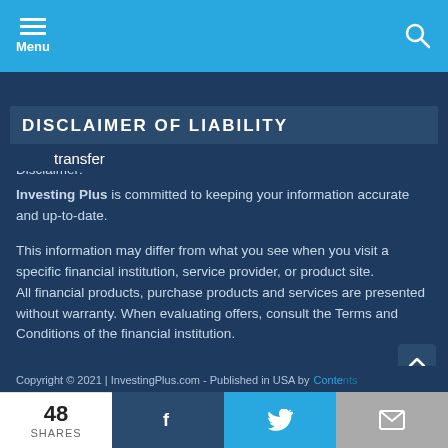Menu
transfer
DISCLAIMER OF LIABILITY
Disclaimer:
Investing Plus is committed to keeping your information accurate and up-to-date.

This information may differ from what you see when you visit a specific financial institution, service provider, or product site. All financial products, purchase products and services are presented without warranty. When evaluating offers, consult the Terms and Conditions of the financial institution.
Copyright © 2021 | InvestingPlus.com - Published in USA by Contents
48 SHARES